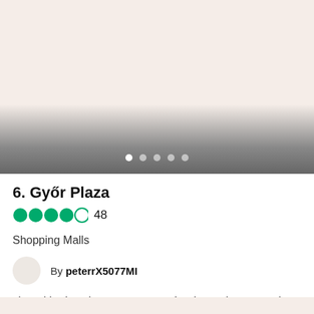[Figure (photo): Image carousel area with blurred dark gradient at bottom and navigation dots. Shows a light pinkish-beige background fading to dark gray at the bottom edge.]
6. Győr Plaza
4 out of 5 stars rating, 48 reviews
Shopping Malls
By peterrX5077MI
I love this shopping center. It contains the Auchan store, the closest one to my home. There is a great choice of...